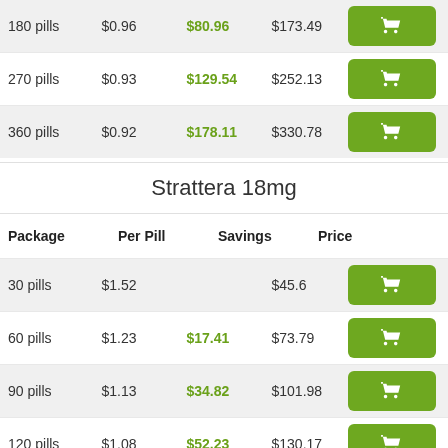| Package | Per Pill | Savings | Price |  |
| --- | --- | --- | --- | --- |
| 180 pills | $0.96 | $80.96 | $173.49 | Add to cart |
| 270 pills | $0.93 | $129.54 | $252.13 | Add to cart |
| 360 pills | $0.92 | $178.11 | $330.78 | Add to cart |
Strattera 18mg
| Package | Per Pill | Savings | Price |  |
| --- | --- | --- | --- | --- |
| 30 pills | $1.52 |  | $45.6 | Add to cart |
| 60 pills | $1.23 | $17.41 | $73.79 | Add to cart |
| 90 pills | $1.13 | $34.82 | $101.98 | Add to cart |
| 120 pills | $1.08 | $52.23 | $130.17 | Add to cart |